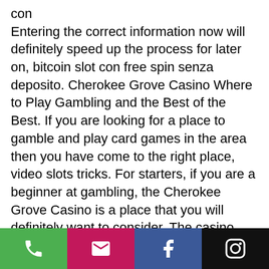con
Entering the correct information now will definitely speed up the process for later on, bitcoin slot con free spin senza deposito. Cherokee Grove Casino Where to Play Gambling and the Best of the Best. If you are looking for a place to gamble and play card games in the area then you have come to the right place, video slots tricks. For starters, if you are a beginner at gambling, the Cherokee Grove Casino is a place that you will definitely want to consider. The casino has a beautiful location and because of that, you will be able to experience all of the fine foods and drinks as well as entertainment that it has to offer. For those who are gambling on their own, there are multiple poker rooms on hand so that you can bet on one of your favorite games.
[Figure (other): Mobile app footer bar with four buttons: phone (green), email/envelope (magenta/pink), Facebook (blue), Instagram (black)]